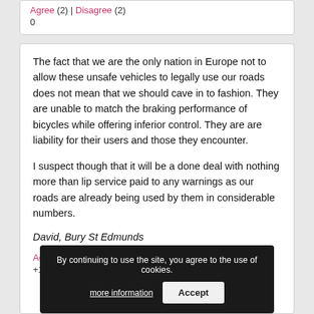Agree (2) | Disagree (2)
0
The fact that we are the only nation in Europe not to allow these unsafe vehicles to legally use our roads does not mean that we should cave in to fashion. They are unable to match the braking performance of bicycles while offering inferior control. They are are liability for their users and those they encounter.

I suspect though that it will be a done deal with nothing more than lip service paid to any warnings as our roads are already being used by them in considerable numbers.
David, Bury St Edmunds
Agree (3) | Disagree (2)
+1
By continuing to use the site, you agree to the use of cookies.
more information
Accept